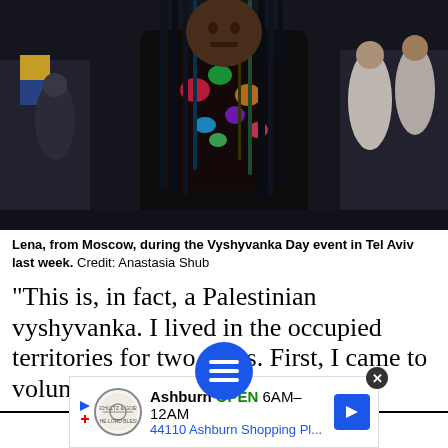[Figure (photo): A woman with long colorful dreadlocks wearing a black floral top standing in a crowd outdoors at night, flags visible in the background.]
Lena, from Moscow, during the Vyshyvanka Day event in Tel Aviv last week.  Credit: Anastasia Shub
“This is, in fact, a Palestinian vyshyvanka. I lived in the occupied territories for two years. First, I came to volunteer at a kindergarten, and
[Figure (other): Blue circular hamburger menu button overlay]
[Figure (other): Advertisement banner: Ashburn OPEN 6AM-12AM 44110 Ashburn Shopping Pl...]